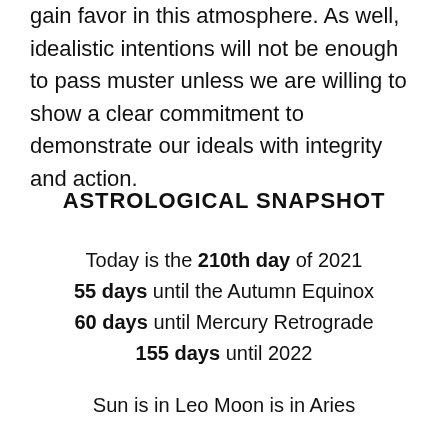gain favor in this atmosphere. As well, idealistic intentions will not be enough to pass muster unless we are willing to show a clear commitment to demonstrate our ideals with integrity and action.
ASTROLOGICAL SNAPSHOT
Today is the 210th day of 2021
55 days until the Autumn Equinox
60 days until Mercury Retrograde
155 days until 2022
Sun is in Leo
Moon is in Aries